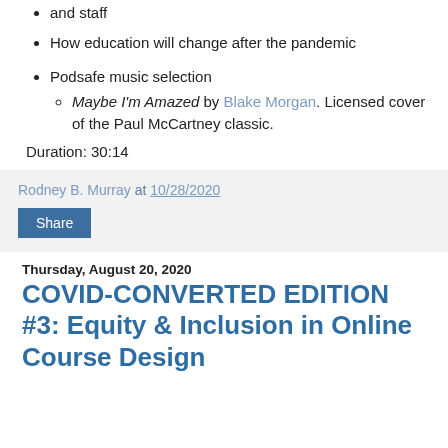and staff
How education will change after the pandemic
Podsafe music selection
Maybe I'm Amazed by Blake Morgan. Licensed cover of the Paul McCartney classic.
Duration: 30:14
Rodney B. Murray at 10/28/2020
Share
Thursday, August 20, 2020
COVID-CONVERTED EDITION #3: Equity & Inclusion in Online Course Design